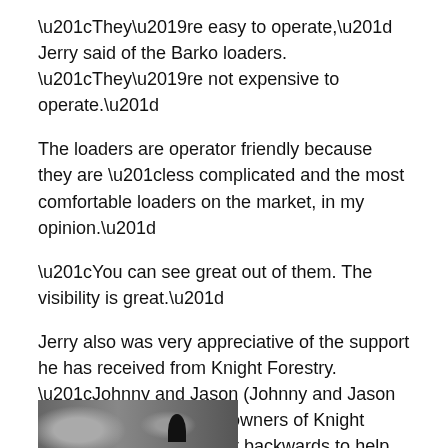“They’re easy to operate,” Jerry said of the Barko loaders. “They’re not expensive to operate.”
The loaders are operator friendly because they are “less complicated and the most comfortable loaders on the market, in my opinion.”
“You can see great out of them. The visibility is great.”
Jerry also was very appreciative of the support he has received from Knight Forestry. “Johnny and Jason (Johnny and Jason Knight, brothers and co-owners of Knight Forestry), they bend over backwards to help you. I’ve had some warranty work done, or something happened, and they lent me a loader and never charged me a dime. They’re real good to us.”
[Figure (photo): Partial black and white photograph visible at bottom of page, showing outdoor scene with figure silhouette]